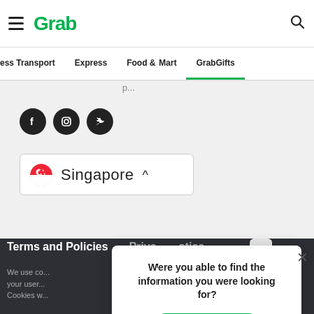[Figure (screenshot): Grab website navigation bar with hamburger menu, Grab logo in green, and search icon]
Forward, Together · 9 Media Close,
ess Transport   Express   Food & Mart   GrabGifts
[Figure (illustration): Three social media icons: Facebook, Instagram, Twitter in dark circles]
[Figure (illustration): Singapore country selector button with Singapore flag and caret up]
Terms and Policies   Privacy Notice
We use co... your user... Cookies w...
Were you able to find the information you were looking for?
[Figure (screenshot): Reply button in green rounded rectangle]